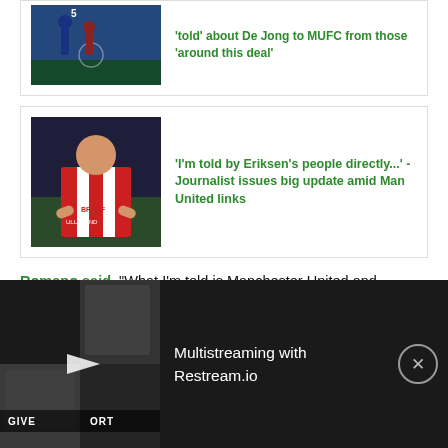[Figure (photo): Soccer players on field, partial top card]
'told' about De Jong to MUFC from those 'around this deal'
[Figure (photo): Christian Eriksen in red and white striped jersey applauding]
'I'm told by Eriksen's people directly...' - Journalist issues big update amid Man United links
Romano said, "What I'm told is Manchester United and Barcelona are in contact for Frenkie De Jong, so it is not over because of this situation… So, he is waiting to see what Barcelona will do and what Manchester United will
[Figure (screenshot): Multistreaming with Restream.io video overlay with play button and close button]